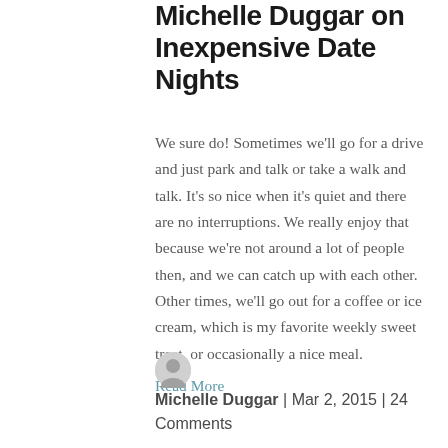Michelle Duggar on Inexpensive Date Nights
We sure do! Sometimes we'll go for a drive and just park and talk or take a walk and talk. It's so nice when it's quiet and there are no interruptions. We really enjoy that because we're not around a lot of people then, and we can catch up with each other. Other times, we'll go out for a coffee or ice cream, which is my favorite weekly sweet treat, or occasionally a nice meal. Read More
Michelle Duggar | Mar 2, 2015 | 24 Comments